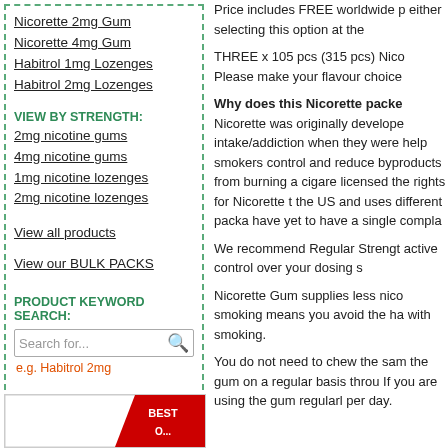Nicorette 2mg Gum
Nicorette 4mg Gum
Habitrol 1mg Lozenges
Habitrol 2mg Lozenges
VIEW BY STRENGTH:
2mg nicotine gums
4mg nicotine gums
1mg nicotine lozenges
2mg nicotine lozenges
View all products
View our BULK PACKS
PRODUCT KEYWORD SEARCH:
Search for...
e.g. Habitrol 2mg
Price includes FREE worldwide p either selecting this option at the
THREE x 105 pcs (315 pcs) Nico Please make your flavour choice
Why does this Nicorette packe Nicorette was originally develope intake/addiction when they were help smokers control and reduce byproducts from burning a cigare licensed the rights for Nicorette t the US and uses different packa have yet to have a single compla
We recommend Regular Strengt active control over your dosing s
Nicorette Gum supplies less nico smoking means you avoid the ha with smoking.
You do not need to chew the sam the gum on a regular basis throu If you are using the gum regularl per day.
[Figure (other): Red BEST badge/banner in bottom left corner]